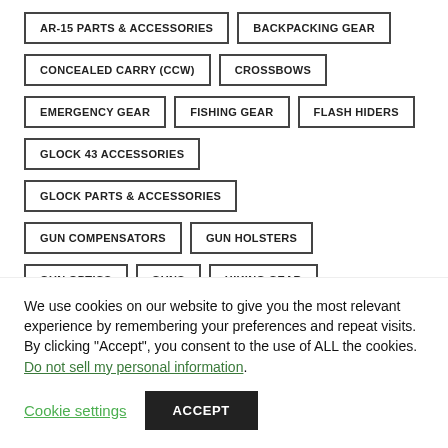AR-15 PARTS & ACCESSORIES
BACKPACKING GEAR
CONCEALED CARRY (CCW)
CROSSBOWS
EMERGENCY GEAR
FISHING GEAR
FLASH HIDERS
GLOCK 43 ACCESSORIES
GLOCK PARTS & ACCESSORIES
GUN COMPENSATORS
GUN HOLSTERS
GUN OPTICS
GUNS
HIKING GEAR
We use cookies on our website to give you the most relevant experience by remembering your preferences and repeat visits. By clicking “Accept”, you consent to the use of ALL the cookies. Do not sell my personal information.
Cookie settings
ACCEPT